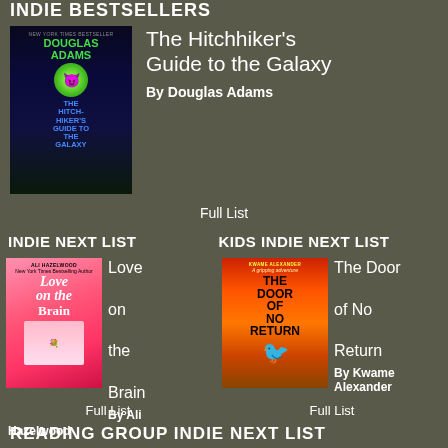INDIE BESTSELLERS
[Figure (illustration): Book cover: The Hitchhiker's Guide to the Galaxy by Douglas Adams, illustrated edition with green text and alien face]
The Hitchhiker's Guide to the Galaxy
By Douglas Adams
Full List
INDIE NEXT LIST
KIDS INDIE NEXT LIST
[Figure (illustration): Book cover: Love on the Brain by Ali Hazelwood, pink cover with illustrated couple]
Love on the Brain
By Ali Hazelwood
[Figure (illustration): Book cover: The Door of No Return by Kwame Alexander, orange/red cover with bird]
The Door of No Return
By Kwame Alexander
Full List
Full List
READING GROUP INDIE NEXT LIST